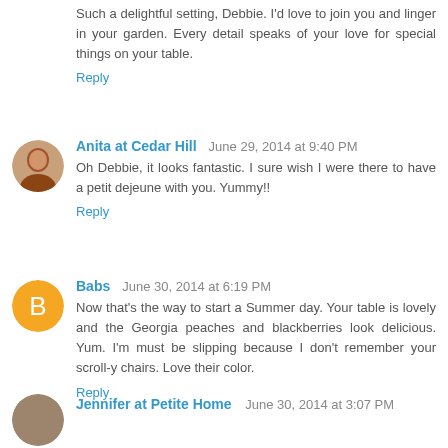Such a delightful setting, Debbie. I'd love to join you and linger in your garden. Every detail speaks of your love for special things on your table.
Reply
Anita at Cedar Hill   June 29, 2014 at 9:40 PM
Oh Debbie, it looks fantastic. I sure wish I were there to have a petit dejeune with you. Yummy!!
Reply
Babs   June 30, 2014 at 6:19 PM
Now that's the way to start a Summer day. Your table is lovely and the Georgia peaches and blackberries look delicious. Yum. I'm must be slipping because I don't remember your scroll-y chairs. Love their color.
Reply
Jennifer at Petite Home   June 30, 2014 at 3:07 PM